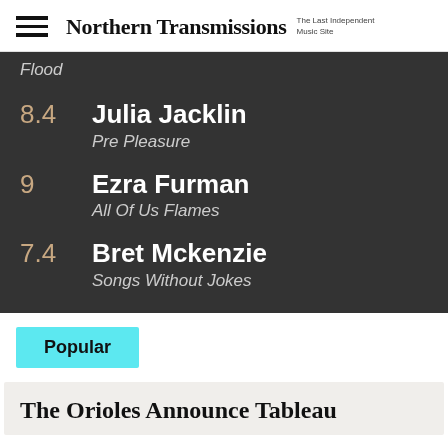Northern Transmissions — The Last Independent Music Site
Flood
8.4 Julia Jacklin — Pre Pleasure
9 Ezra Furman — All Of Us Flames
7.4 Bret Mckenzie — Songs Without Jokes
Popular
The Orioles Announce Tableau